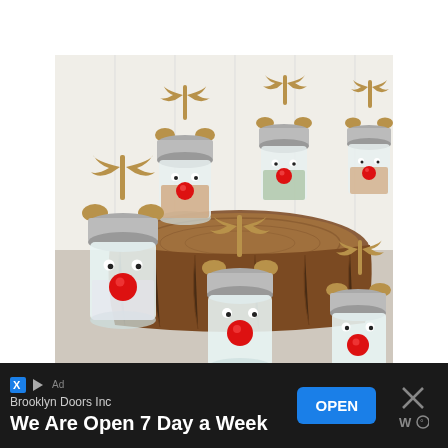[Figure (photo): Photo of multiple mason jars decorated as reindeer with cardboard antlers, googly eyes, and red ball noses, arranged on a wooden log slice display stand against a white background.]
Brooklyn Doors Inc
We Are Open 7 Day a Week
[Figure (other): Advertisement banner with Brooklyn Doors Inc company name, 'We Are Open 7 Day a Week' tagline, blue OPEN button, and close X button with icon.]